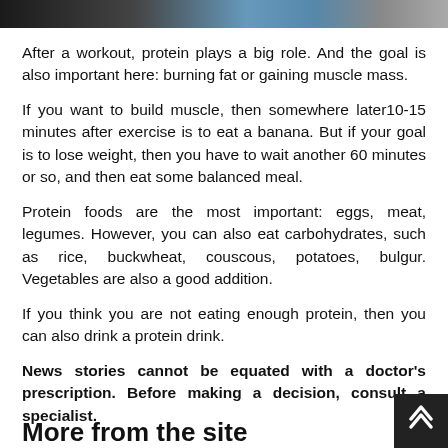[Figure (photo): Partial photo strip at the top of the page showing a person in jeans, dark background]
After a workout, protein plays a big role. And the goal is also important here: burning fat or gaining muscle mass.
If you want to build muscle, then somewhere later10-15 minutes after exercise is to eat a banana. But if your goal is to lose weight, then you have to wait another 60 minutes or so, and then eat some balanced meal.
Protein foods are the most important: eggs, meat, legumes. However, you can also eat carbohydrates, such as rice, buckwheat, couscous, potatoes, bulgur. Vegetables are also a good addition.
If you think you are not eating enough protein, then you can also drink a protein drink.
News stories cannot be equated with a doctor's prescription. Before making a decision, consult a specialist.
More from the site